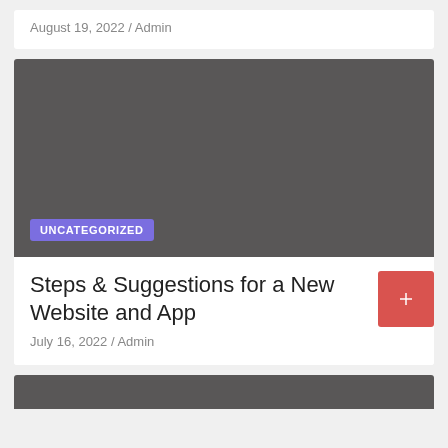August 19, 2022 / Admin
[Figure (photo): Dark gray image placeholder with UNCATEGORIZED badge in purple]
Steps & Suggestions for a New Website and App
July 16, 2022 / Admin